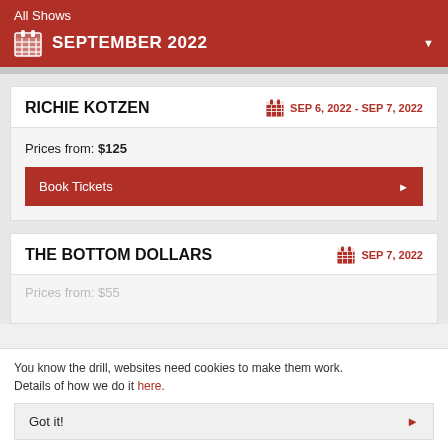All Shows
SEPTEMBER 2022
RICHIE KOTZEN
SEP 6, 2022 - SEP 7, 2022
Prices from: $125
Book Tickets
THE BOTTOM DOLLARS
SEP 7, 2022
Prices from: $55
You know the drill, websites need cookies to make them work. Details of how we do it here.
Got it!